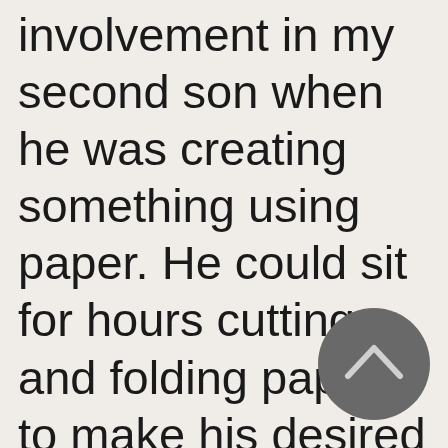involvement in my second son when he was creating something using paper. He could sit for hours cutting and folding paper to make his desired object of imagination. The questions that
[Figure (other): A circular dark grey UI button with an upward-pointing chevron/caret arrow icon in light grey/white]